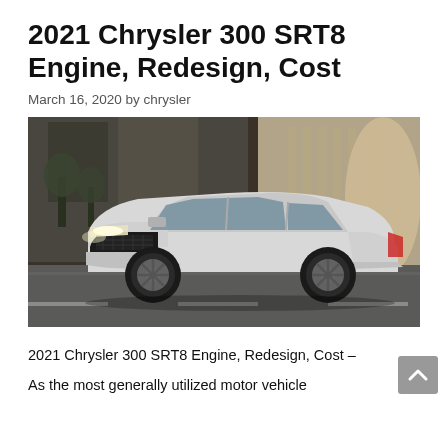2021 Chrysler 300 SRT8 Engine, Redesign, Cost
March 16, 2020 by chrysler
[Figure (photo): A silver Chrysler 300 SRT8 sedan photographed from the front-left angle on a city street, with urban buildings in the background.]
2021 Chrysler 300 SRT8 Engine, Redesign, Cost –
As the most generally utilized motor vehicle